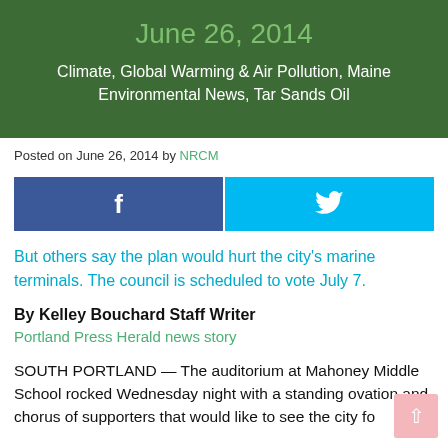June 26, 2014
Climate, Global Warming & Air Pollution, Maine Environmental News, Tar Sands Oil
Posted on June 26, 2014 by NRCM
[Figure (other): Facebook and Twitter social share buttons side by side]
But others say the plan would hurt the city's marine terminals. The council is scheduled to vote July 7.
By Kelley Bouchard Staff Writer
Portland Press Herald news story
SOUTH PORTLAND — The auditorium at Mahoney Middle School rocked Wednesday night with a standing ovation and chorus of supporters that would like to see the city fo